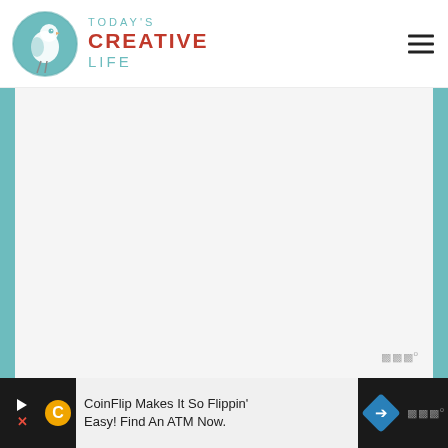TODAY'S CREATIVE LIFE
[Figure (logo): Today's Creative Life logo with teal bird circle icon and text]
[Figure (screenshot): Main content area with teal left and right border bars on a light gray background, appears to be a video or image placeholder with Wistia watermark]
CoinFlip Makes It So Flippin' Easy! Find An ATM Now.